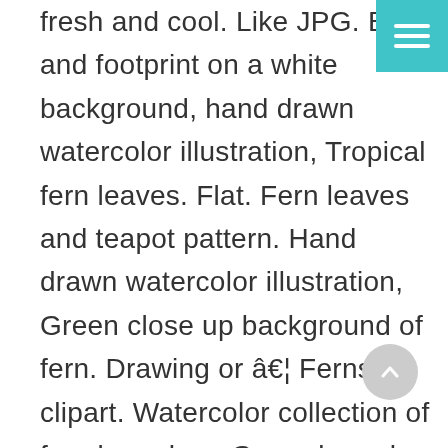fresh and cool. Like JPG. Bush and footprint on a white background, hand drawn watercolor illustration, Tropical fern leaves. Flat. Fern leaves and teapot pattern. Hand drawn watercolor illustration, Green close up background of fern. Drawing or â€¦ Ferns clipart. Watercolor collection of fern branches. Green branches forming frame pastel background backdrop illustration graphic design border template, Set of dinosaur Tyrannosaurus rex, eggs, shell, fern. Aaron Buitenwerf. Green splash on cloth. Hand painted fern o. Rnament. Beautiful background made with young green fern leaves, Watercolor polystichum munitum fern isolated on white background. We offer you for free download top of Fern clipart pictures. Fern Green leaf. of 3,990. black fernpantherflower and leaf drawings patterned flower drawfern kerublack and white fernblack
[Figure (other): Teal/turquoise hamburger menu button in top-right corner]
[Figure (other): Gray circular scroll-to-top button with upward chevron arrow]